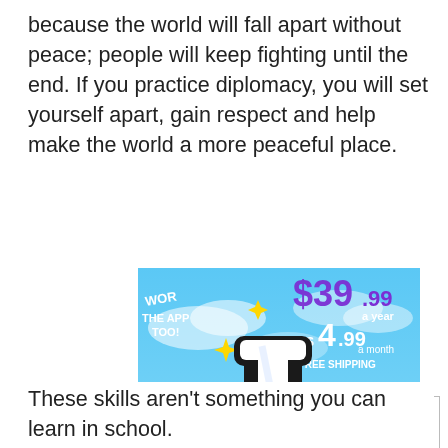because the world will fall apart without peace; people will keep fighting until the end. If you practice diplomacy, you will set yourself apart, gain respect and help make the world a more peaceful place.
[Figure (illustration): Advertisement banner showing the Tumblr logo (colorful 't' letter) with text 'WORKS ON THE APP TOO!' and pricing '$39.99 a year or $4.99 a month + FREE SHIPPING' on a blue cloudy background with yellow sparkle stars.]
Privacy & Cookies: This site uses cookies. By continuing to use this website, you agree to their use.
To find out more, including how to control cookies, see here: Cookie Policy
These skills aren't something you can learn in school.